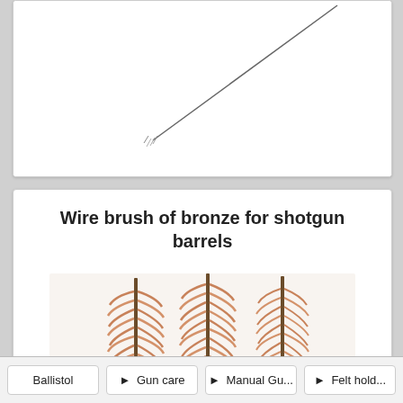[Figure (photo): Partial view of a thin cleaning rod or wire brush shown diagonally against white background]
Wire brush of bronze for shotgun barrels
[Figure (photo): Three bronze wire brushes for shotgun barrel cleaning, displayed vertically side by side, with text 'www.Ballistol-Shop.de' overlaid in red]
Ballistol  ► Gun care  ► Manual Gu...  ► Felt hold...